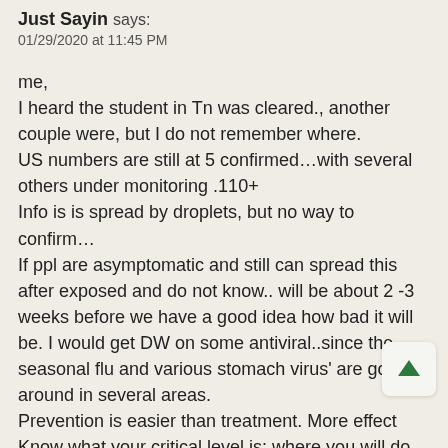Just Sayin says:
01/29/2020 at 11:45 PM
me,
I heard the student in Tn was cleared., another couple were, but I do not remember where.
US numbers are still at 5 confirmed…with several others under monitoring .110+
Info is is spread by droplets, but no way to confirm…
If ppl are asymptomatic and still can spread this after exposed and do not know.. will be about 2 -3 weeks before we have a good idea how bad it will be. I would get DW on some antiviral..since the seasonal flu and various stomach virus' are going around in several areas.
Prevention is easier than treatment. More effect
Know what your critical level is: where you will do